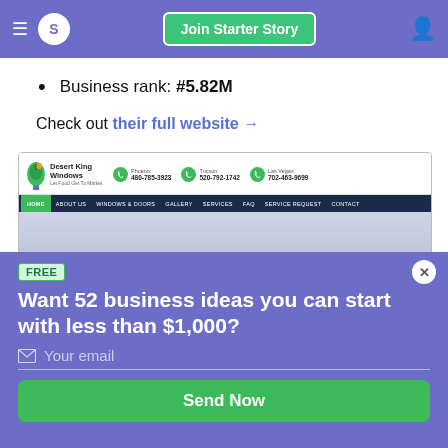Join Starter Story
Business rank: #5.82M
Check out their full website →
[Figure (screenshot): Screenshot of Desert King Windows website showing logo, phone numbers for Phoenix (480-785-3923), Tucson (520-792-1742), Las Vegas (702-463-9699), and navigation bar with HOME, ABOUT US, WINDOWS & DOORS, GALLERY, SERVICES, FAQ, SERVICE REQUEST, CONTACT]
FREE
Want 52 business ideas you can start with less than $1,000?
Your email
Send Now